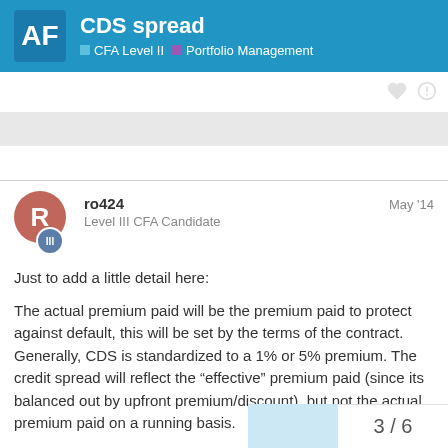CDS spread — CFA Level II · Portfolio Management
ro424
Level III CFA Candidate
May '14
Just to add a little detail here:
The actual premium paid will be the premium paid to protect against default, this will be set by the terms of the contract. Generally, CDS is standardized to a 1% or 5% premium. The credit spread will reflect the “effective” premium paid (since its balanced out by upfront premium/discount), but not the actual premium paid on a running basis.
The credit spread is intended to represent